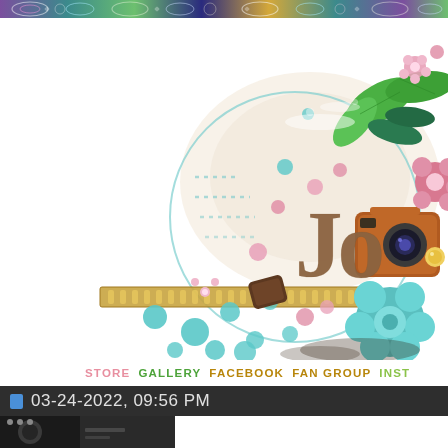[Figure (illustration): Decorative header banner with colorful paisley/swirl patterns in purple, teal, green, gold, and dark blue.]
[Figure (photo): Digital scrapbooking layout featuring wooden 'Jo' letters, a vintage camera, pink and teal flowers, green tropical leaves, decorative dots, a gold ruler/ribbon, and floral embellishments on a white background.]
STORE GALLERY FACEBOOK FAN GROUP INST
03-24-2022, 09:56 PM
[Figure (photo): Small thumbnail preview image at the bottom left, showing a dark partial image.]